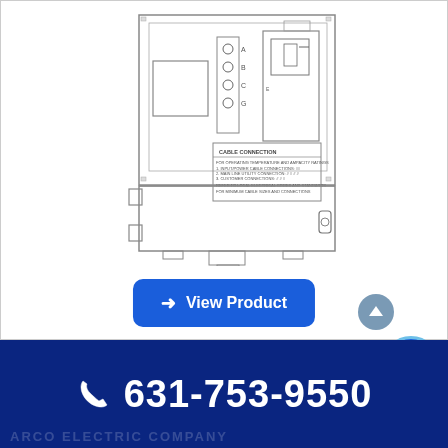[Figure (schematic): Technical schematic/engineering diagram of an electrical enclosure or panel box, showing front view with cable connection label, terminal blocks, breaker, and a lower compartment with a locking handle. The diagram is a line drawing.]
View Product
631-753-9550